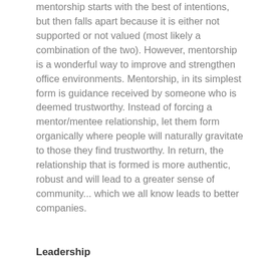mentorship starts with the best of intentions, but then falls apart because it is either not supported or not valued (most likely a combination of the two). However, mentorship is a wonderful way to improve and strengthen office environments. Mentorship, in its simplest form is guidance received by someone who is deemed trustworthy. Instead of forcing a mentor/mentee relationship, let them form organically where people will naturally gravitate to those they find trustworthy. In return, the relationship that is formed is more authentic, robust and will lead to a greater sense of community... which we all know leads to better companies.
Leadership